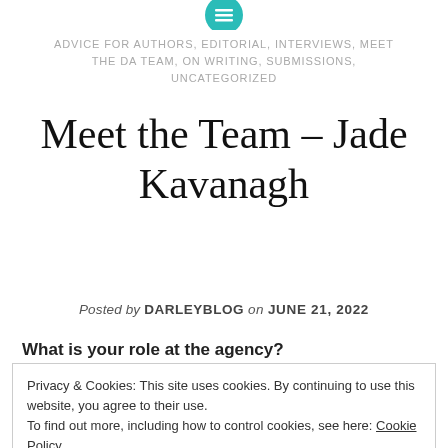[Figure (logo): Teal circular icon with horizontal lines (menu/list icon) at top center]
ADVICE FOR AUTHORS, EDITORIAL, INTERVIEWS, MEET THE DA TEAM, ON WRITING, SUBMISSIONS, UNCATEGORIZED
Meet the Team – Jade Kavanagh
Posted by DARLEYBLOG on JUNE 21, 2022
What is your role at the agency?
Privacy & Cookies: This site uses cookies. By continuing to use this website, you agree to their use.
To find out more, including how to control cookies, see here: Cookie Policy
Close and accept
How did you get into publishing?